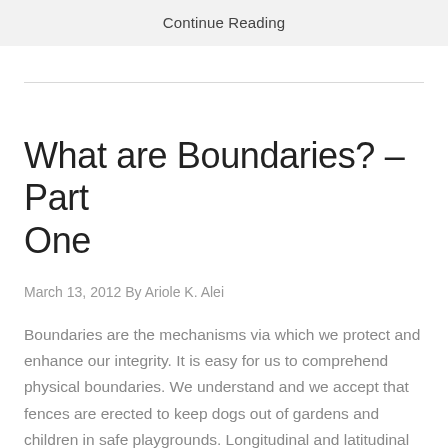Continue Reading
What are Boundaries? – Part One
March 13, 2012 By Ariole K. Alei
Boundaries are the mechanisms via which we protect and enhance our integrity. It is easy for us to comprehend physical boundaries. We understand and we accept that fences are erected to keep dogs out of gardens and children in safe playgrounds. Longitudinal and latitudinal